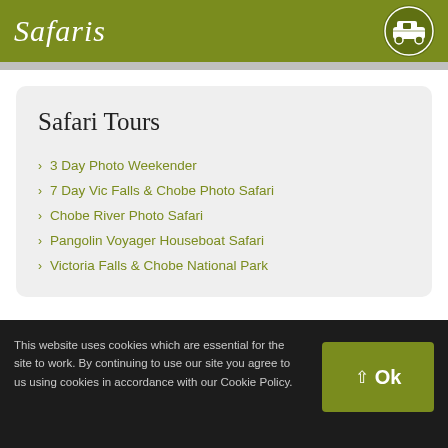Safaris
Safari Tours
3 Day Photo Weekender
7 Day Vic Falls & Chobe Photo Safari
Chobe River Photo Safari
Pangolin Voyager Houseboat Safari
Victoria Falls & Chobe National Park
This website uses cookies which are essential for the site to work. By continuing to use our site you agree to us using cookies in accordance with our Cookie Policy.